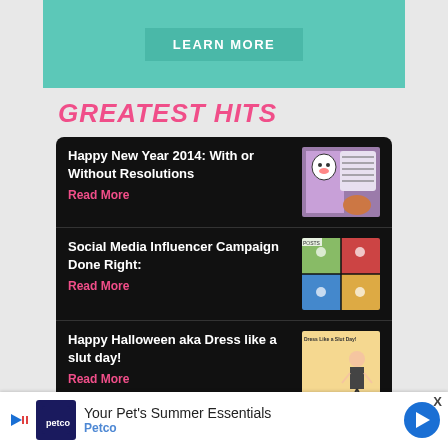[Figure (other): Teal/green banner with LEARN MORE button]
GREATEST HITS
Happy New Year 2014: With or Without Resolutions
Read More
Social Media Influencer Campaign Done Right:
Read More
Happy Halloween aka Dress like a slut day!
Read More
[Figure (other): Bottom advertisement banner: Your Pet's Summer Essentials - Petco]